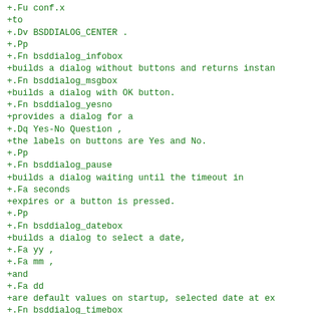+.Fu conf.x
+to
+.Dv BSDDIALOG_CENTER .
+.Pp
+.Fn bsddialog_infobox
+builds a dialog without buttons and returns instan
+.Fn bsddialog_msgbox
+builds a dialog with OK button.
+.Fn bsddialog_yesno
+provides a dialog for a
+.Dq Yes-No Question ,
+the labels on buttons are Yes and No.
+.Pp
+.Fn bsddialog_pause
+builds a dialog waiting until the timeout in
+.Fa seconds
+expires or a button is pressed.
+.Pp
+.Fn bsddialog_datebox
+builds a dialog to select a date,
+.Fa yy ,
+.Fa mm ,
+and
+.Fa dd
+are default values on startup, selected date at ex
+.Fn bsddialog_timebox
+builds a dialog to choose a time,
+.Fa hh ,
+.Fa mm ,
+and
+.Fa ss